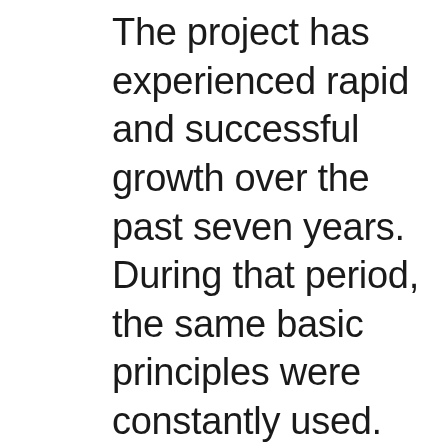The project has experienced rapid and successful growth over the past seven years. During that period, the same basic principles were constantly used. Based on the goals